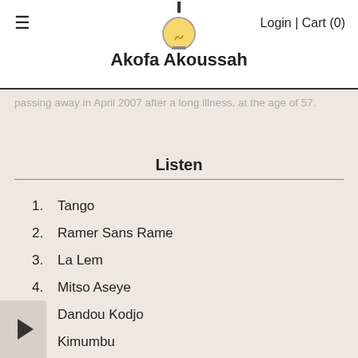≡   Akofa Akoussah   Login | Cart (0)
passing away in April 2007 after a long illness, at the age of 57.
Listen
1.  Tango
2.  Ramer Sans Rame
3.  La Lem
4.  Mitso Aseye
5.  Dandou Kodjo
6.  Kimumbu
7.  G Blem Di
8.  I Tcho Tchass